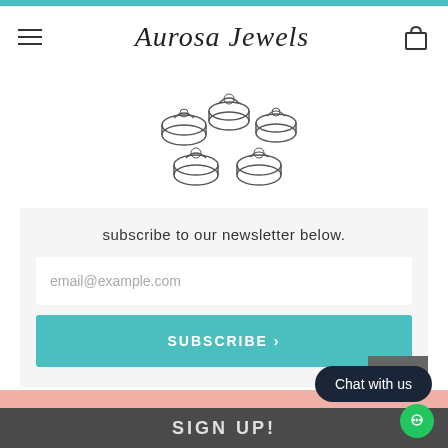Aurosa Jewels
[Figure (illustration): Sketch illustration of multiple diamond rings arranged in a circular cluster]
subscribe to our newsletter below.
email@example.com
SUBSCRIBE >
TO TOP
Chat with us
SIGN UP!